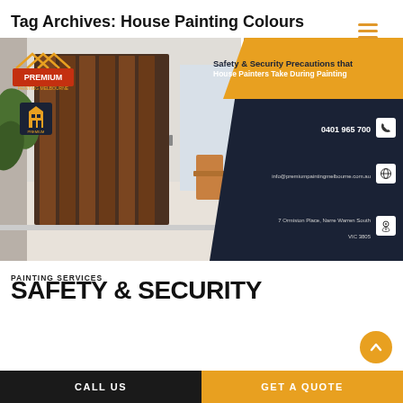Tag Archives: House Painting Colours
[Figure (infographic): Premium Painting Melbourne banner with a photo of a house entry with wooden door on the left and a dark navy panel on the right with yellow header reading 'Safety & Security Precautions that House Painters Take During Painting', plus contact details: phone 0401 965 700, email info@premiumpaintingmelbourne.com.au, address 7 Ormiston Place, Narre Warren South VIC 3805]
PAINTING SERVICES
SAFETY & SECURITY
CALL US
GET A QUOTE